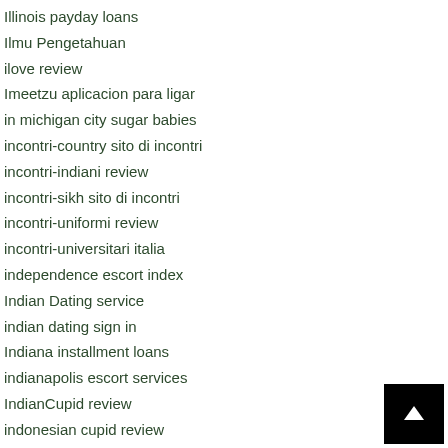Illinois payday loans
Ilmu Pengetahuan
ilove review
Imeetzu aplicacion para ligar
in michigan city sugar babies
incontri-country sito di incontri
incontri-indiani review
incontri-sikh sito di incontri
incontri-uniformi review
incontri-universitari italia
independence escort index
Indian Dating service
indian dating sign in
Indiana installment loans
indianapolis escort services
IndianCupid review
indonesian cupid review
indonesian cupid web
indonesiancupid dating